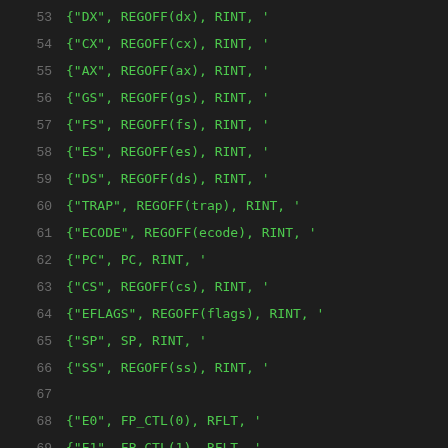53    {"DX",    REGOFF(dx),    RINT, '...
54    {"CX",    REGOFF(cx),    RINT, '...
55    {"AX",    REGOFF(ax),    RINT, '...
56    {"GS",    REGOFF(gs),    RINT, '...
57    {"FS",    REGOFF(fs),    RINT, '...
58    {"ES",    REGOFF(es),    RINT, '...
59    {"DS",    REGOFF(ds),    RINT, '...
60    {"TRAP",  REGOFF(trap),  RINT, '...
61    {"ECODE", REGOFF(ecode), RINT, '...
62    {"PC",    PC,            RINT, '...
63    {"CS",    REGOFF(cs),    RINT, '...
64    {"EFLAGS",REGOFF(flags), RINT, '...
65    {"SP",    SP,            RINT, '...
66    {"SS",    REGOFF(ss),    RINT, '...
67
68    {"E0",    FP_CTL(0),     RFLT, '...
69    {"E1",    FP_CTL(1),     RFLT, '...
70    {"E2",    FP_CTL(2),     RFLT, '...
71    {"E3",    FP_CTL(3),     RFLT, '...
72    {"E4",    FP_CTL(4),     RFLT, '...
73    {"E5",    FP_CTL(5),     RFLT, '...
74    {"E6",    FP_CTL(6),     RFLT, '...